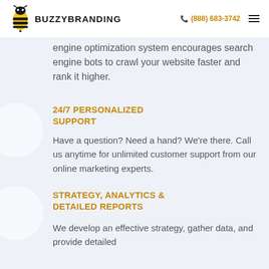BUZZYBRANDING  (888) 683-3742
engine optimization system encourages search engine bots to crawl your website faster and rank it higher.
24/7 PERSONALIZED SUPPORT
Have a question? Need a hand? We're there. Call us anytime for unlimited customer support from our online marketing experts.
STRATEGY, ANALYTICS & DETAILED REPORTS
We develop an effective strategy, gather data, and provide detailed